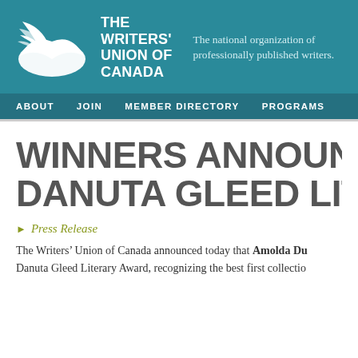[Figure (logo): The Writers' Union of Canada logo with white bird/feather and open book icon, white text reading THE WRITERS' UNION OF CANADA, and tagline 'The national organization of professionally published writers.']
ABOUT   JOIN   MEMBER DIRECTORY   PROGRAMS
WINNERS ANNOUNCED DANUTA GLEED LITE
Press Release
The Writers’ Union of Canada announced today that Amolda Du... Danuta Gleed Literary Award, recognizing the best first collectio...